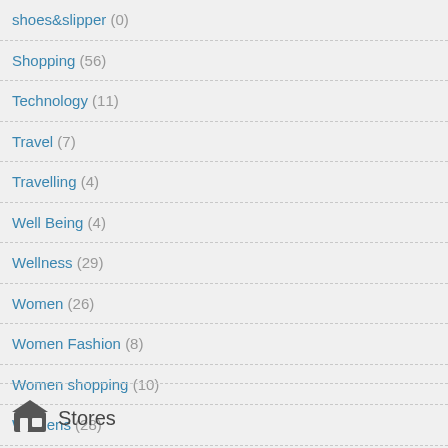shoes&slipper (0)
Shopping (56)
Technology (11)
Travel (7)
Travelling (4)
Well Being (4)
Wellness (29)
Women (26)
Women Fashion (8)
Women shopping (10)
Womens (28)
Stores